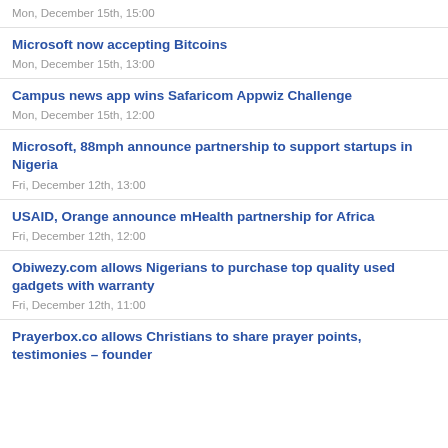Mon, December 15th, 15:00
Microsoft now accepting Bitcoins
Mon, December 15th, 13:00
Campus news app wins Safaricom Appwiz Challenge
Mon, December 15th, 12:00
Microsoft, 88mph announce partnership to support startups in Nigeria
Fri, December 12th, 13:00
USAID, Orange announce mHealth partnership for Africa
Fri, December 12th, 12:00
Obiwezy.com allows Nigerians to purchase top quality used gadgets with warranty
Fri, December 12th, 11:00
Prayerbox.co allows Christians to share prayer points, testimonies – founder